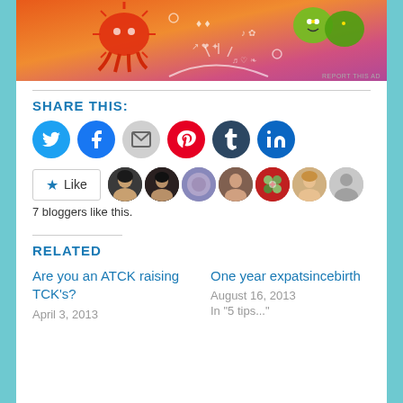[Figure (photo): Colorful illustrated banner/ad with sun, cartoon characters on orange-pink gradient background. 'REPORT THIS AD' text in bottom right.]
SHARE THIS:
[Figure (infographic): Row of social share icon buttons: Twitter (blue), Facebook (blue), Email (gray), Pinterest (red), Tumblr (dark), LinkedIn (blue)]
[Figure (infographic): Like button with star icon followed by 7 blogger avatar thumbnails]
7 bloggers like this.
RELATED
Are you an ATCK raising TCK's?
April 3, 2013
One year expatsincebirth
August 16, 2013
In "5 tips..."